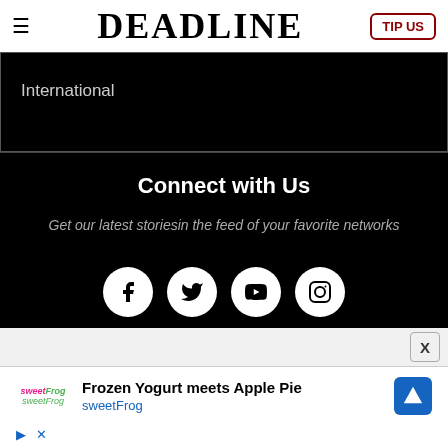DEADLINE
International
Connect with Us
Get our latest stories in the feed of your favorite networks
[Figure (infographic): Social media icons: Facebook, Twitter, YouTube, Instagram — white circles on black background]
Have a Tip?
[Figure (infographic): Advertisement for sweetFrog: Frozen Yogurt meets Apple Pie]